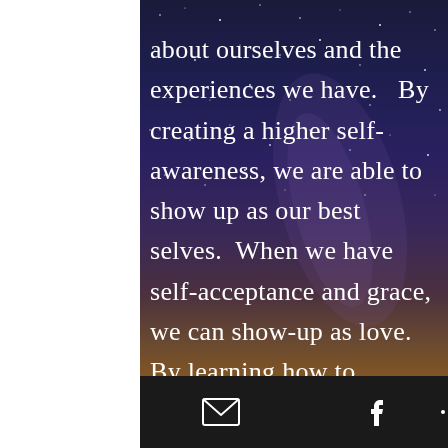about ourselves and the experiences we have.   By creating a higher self-awareness, we are able to show up as our best selves.  When we have self-acceptance and grace, we can show-up as love. By learning how to overcome obstacles, break re-occurring cycles, and heal from past hurts we can make progress towards
[Figure (photo): Starry night sky with Milky Way galaxy visible, transitioning from deep blue-purple at top to warm orange-brown at the horizon, with a silhouetted landscape at the bottom.]
Email icon and Facebook icon in black footer bar